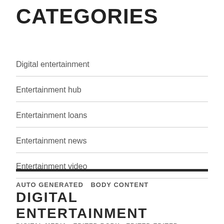CATEGORIES
Digital entertainment
Entertainment hub
Entertainment loans
Entertainment news
Entertainment video
AUTO GENERATED  BODY CONTENT  DIGITAL ENTERTAINMENT  DIGITAL MEDIA  EDITED BODY  EDITED EDITED